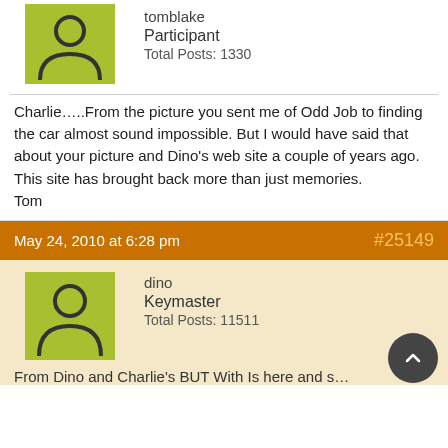[Figure (illustration): Green square avatar with dark person silhouette icon for user tomblake]
tomblake
Participant
Total Posts: 1330
Charlie…..From the picture you sent me of Odd Job to finding the car almost sound impossible. But I would have said that about your picture and Dino's web site a couple of years ago. This site has brought back more than just memories.
Tom
May 24, 2010 at 6:28 pm  #25149
[Figure (illustration): Green square avatar with dark person silhouette icon for user dino]
dino
Keymaster
Total Posts: 11511